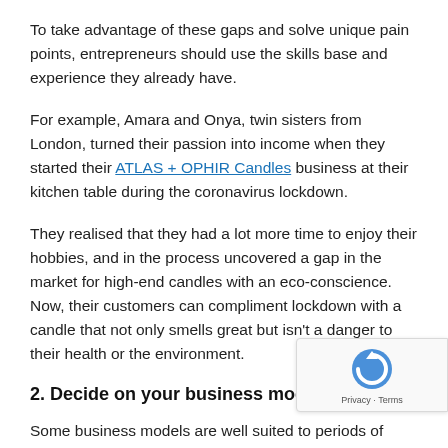To take advantage of these gaps and solve unique pain points, entrepreneurs should use the skills base and experience they already have.
For example, Amara and Onya, twin sisters from London, turned their passion into income when they started their ATLAS + OPHIR Candles business at their kitchen table during the coronavirus lockdown.
They realised that they had a lot more time to enjoy their hobbies, and in the process uncovered a gap in the market for high-end candles with an eco-conscience. Now, their customers can compliment lockdown with a candle that not only smells great but isn't a danger to their health or the environment.
2. Decide on your business model
Some business models are well suited to periods of uncertainty and change. For instance, freelance business models...